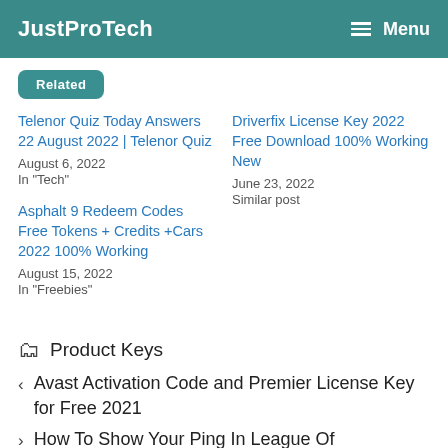JustProTech   Menu
Related
Telenor Quiz Today Answers 22 August 2022 | Telenor Quiz
August 6, 2022
In "Tech"
Driverfix License Key 2022 Free Download 100% Working New
June 23, 2022
Similar post
Asphalt 9 Redeem Codes Free Tokens + Credits +Cars 2022 100% Working
August 15, 2022
In "Freebies"
Product Keys
< Avast Activation Code and Premier License Key for Free 2021
> How To Show Your Ping In League Of